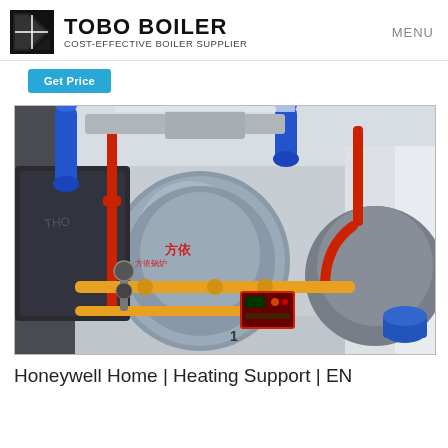TOBO BOILER COST-EFFECTIVE BOILER SUPPLIER | MENU
[Figure (photo): Industrial boiler room with multiple large cylindrical boilers in metallic casing, with red, blue, and orange/yellow pipes, control panels, in a well-lit facility.]
Honeywell Home | Heating Support | EN